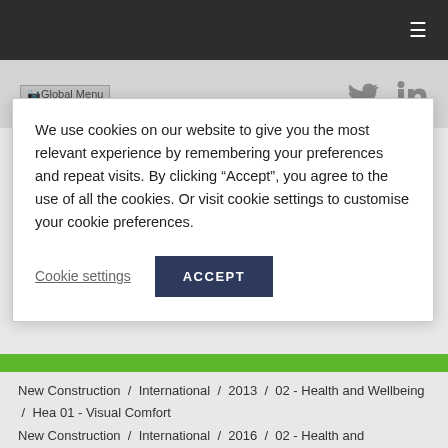≡ (hamburger menu icon)
[Figure (screenshot): Navigation bar with Global Menu logo/text on left and Twitter and LinkedIn social icons on right]
We use cookies on our website to give you the most relevant experience by remembering your preferences and repeat visits. By clicking "Accept", you agree to the use of all the cookies. Or visit cookie settings to customise your cookie preferences.
Cookie settings   ACCEPT
New Construction / International / 2013 / 02 - Health and Wellbeing / Hea 01 - Visual Comfort
New Construction / International / 2016 / 02 - Health and Wellbeing / HEA 01 - Visual Comfort